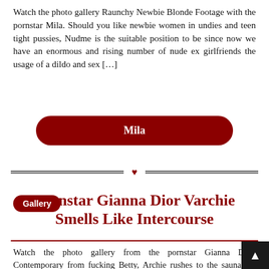Watch the photo gallery Raunchy Newbie Blonde Footage with the pornstar Mila. Should you like newbie women in undies and teen tight pussies, Nudme is the suitable position to be since now we have an enormous and rising number of nude ex girlfriends the usage of a dildo and sex […]
Mila
[Figure (other): Decorative horizontal divider with double lines and a red heart in the center]
Gallery
Pornstar Gianna Dior Varchie Smells Like Intercourse
Watch the photo gallery from the pornstar Gianna Dior. Contemporary from fucking Betty, Archie rushes to the sauna the place Veronica is trapped. He unearths Veronica handed out, so he carries her within and tries to determine what to do subsequent. Veronica involves and tries to speak to Archie however […]